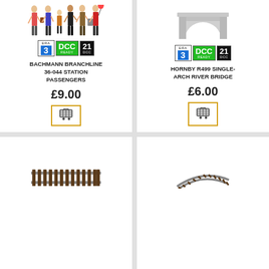[Figure (photo): Station passenger figures (model railway people)]
[Figure (other): ERA 3, DCC READY, 21 DCC badges]
BACHMANN BRANCHLINE 36-044 STATION PASSENGERS
£9.00
[Figure (other): Add to cart button with basket icon]
[Figure (photo): Hornby R499 Single-Arch River Bridge model]
[Figure (other): ERA 3, DCC READY, 21 DCC badges]
HORNBY R499 SINGLE-ARCH RIVER BRIDGE
£6.00
[Figure (other): Add to cart button with basket icon]
[Figure (photo): Straight model railway track segment]
[Figure (photo): Curved model railway track segment]